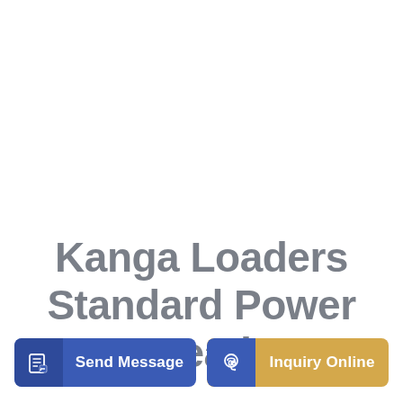Kanga Loaders Standard Power Head
[Figure (other): Send Message button with document/edit icon on blue background]
[Figure (other): Inquiry Online button with headset/support icon on gold/tan background]